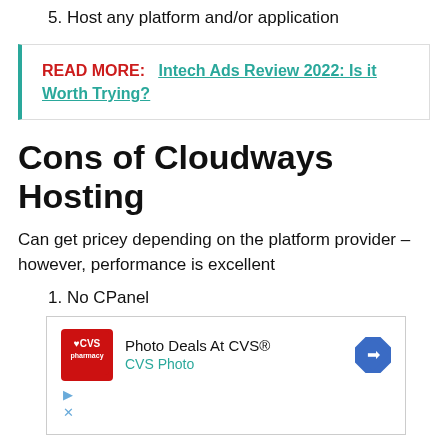5. Host any platform and/or application
READ MORE:  Intech Ads Review 2022: Is it Worth Trying?
Cons of Cloudways Hosting
Can get pricey depending on the platform provider – however, performance is excellent
1. No CPanel
[Figure (other): Advertisement banner for Photo Deals At CVS® / CVS Photo with CVS Pharmacy logo and navigation arrow icon, with close/skip ad controls (play and X icons).]